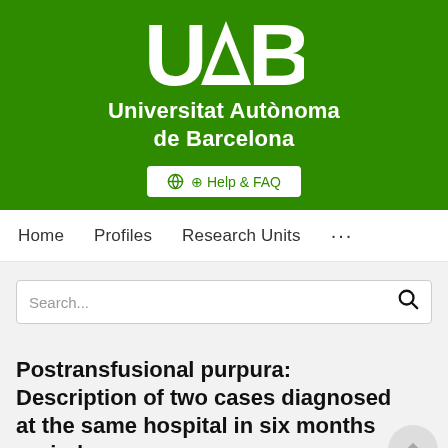[Figure (logo): Universitat Autònoma de Barcelona (UAB) logo and name on green background with Help & FAQ button]
Home   Profiles   Research Units   ...
Search...
Postransfusional purpura: Description of two cases diagnosed at the same hospital in six months period